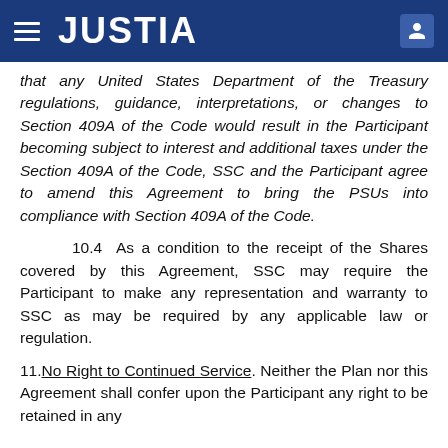JUSTIA
that any United States Department of the Treasury regulations, guidance, interpretations, or changes to Section 409A of the Code would result in the Participant becoming subject to interest and additional taxes under the Section 409A of the Code, SSC and the Participant agree to amend this Agreement to bring the PSUs into compliance with Section 409A of the Code.
10.4 As a condition to the receipt of the Shares covered by this Agreement, SSC may require the Participant to make any representation and warranty to SSC as may be required by any applicable law or regulation.
11. No Right to Continued Service. Neither the Plan nor this Agreement shall confer upon the Participant any right to be retained in any